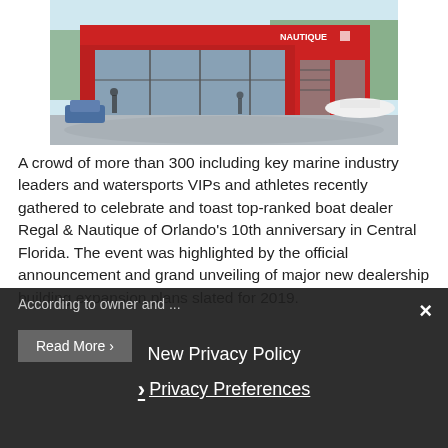[Figure (photo): Exterior rendering of a Nautique boat dealership building with red facade and glass windows, parking area with boats visible.]
A crowd of more than 300 including key marine industry leaders and watersports VIPs and athletes recently gathered to celebrate and toast top-ranked boat dealer Regal & Nautique of Orlando's 10th anniversary in Central Florida. The event was highlighted by the official announcement and grand unveiling of major new dealership building expansion plans slated for 2019.
According to owner and ...
Read More ›
New Privacy Policy
› Privacy Preferences
×